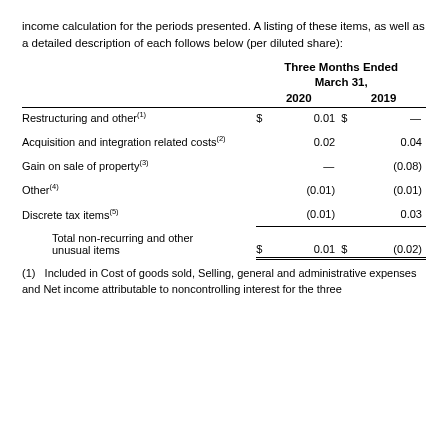income calculation for the periods presented. A listing of these items, as well as a detailed description of each follows below (per diluted share):
|  | Three Months Ended March 31, 2020 | Three Months Ended March 31, 2019 |
| --- | --- | --- |
| Restructuring and other (1) | $ 0.01 | $ — |
| Acquisition and integration related costs (2) | 0.02 | 0.04 |
| Gain on sale of property (3) | — | (0.08) |
| Other (4) | (0.01) | (0.01) |
| Discrete tax items (5) | (0.01) | 0.03 |
| Total non-recurring and other unusual items | $ 0.01 | $ (0.02) |
(1)  Included in Cost of goods sold, Selling, general and administrative expenses and Net income attributable to noncontrolling interest for the three